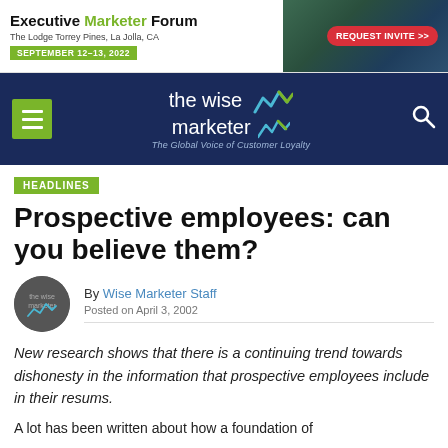[Figure (infographic): Executive Marketer Forum banner ad: The Lodge Torrey Pines, La Jolla, CA. September 12-13, 2022. REQUEST INVITE >> button. Background photo of trees/landscape.]
the wise marketer — The Global Voice of Customer Loyalty
HEADLINES
Prospective employees: can you believe them?
By Wise Marketer Staff
Posted on April 3, 2002
New research shows that there is a continuing trend towards dishonesty in the information that prospective employees include in their resums.
A lot has been written about how a foundation of